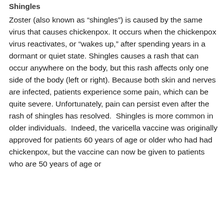Shingles
Zoster (also known as “shingles”) is caused by the same virus that causes chickenpox. It occurs when the chickenpox virus reactivates, or “wakes up,” after spending years in a dormant or quiet state. Shingles causes a rash that can occur anywhere on the body, but this rash affects only one side of the body (left or right). Because both skin and nerves are infected, patients experience some pain, which can be quite severe. Unfortunately, pain can persist even after the rash of shingles has resolved.  Shingles is more common in older individuals.  Indeed, the varicella vaccine was originally approved for patients 60 years of age or older who had had chickenpox, but the vaccine can now be given to patients who are 50 years of age or